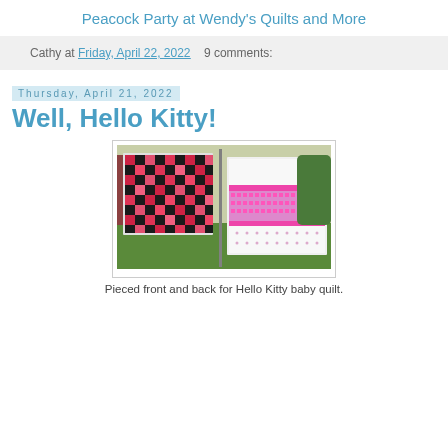Peacock Party at Wendy's Quilts and More
Cathy at Friday, April 22, 2022   9 comments:
Thursday, April 21, 2022
Well, Hello Kitty!
[Figure (photo): Two quilts hanging on a clothesline outdoors on grass. Left quilt has a checkerboard pattern in red, pink, black and white. Right quilt is white with pink horizontal bands and small dot pattern.]
Pieced front and back for Hello Kitty baby quilt.